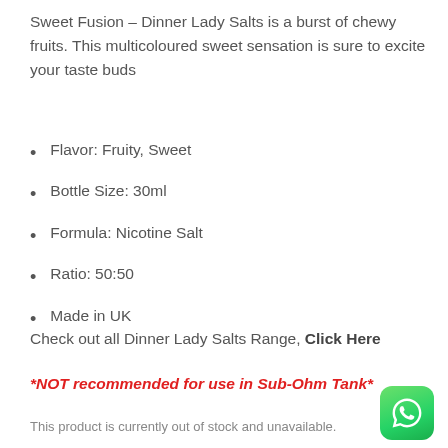Sweet Fusion – Dinner Lady Salts is a burst of chewy fruits. This multicoloured sweet sensation is sure to excite your taste buds
Flavor: Fruity, Sweet
Bottle Size: 30ml
Formula: Nicotine Salt
Ratio: 50:50
Made in UK
Check out all Dinner Lady Salts Range, Click Here
*NOT recommended for use in Sub-Ohm Tank*
This product is currently out of stock and unavailable.
[Figure (logo): WhatsApp icon — green rounded square with white phone handset silhouette]